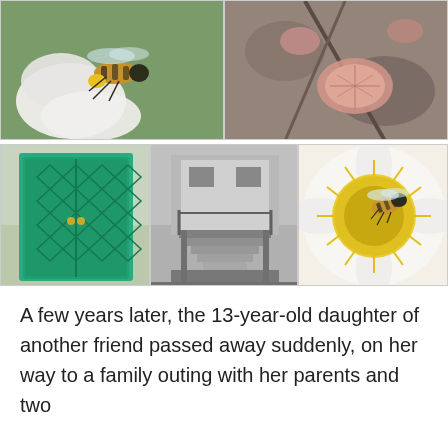[Figure (photo): Top-left: close-up photo of a honeybee on a white flower]
[Figure (photo): Top-right: close-up photo of pink leaves or petals on rocky ground]
[Figure (photo): Bottom-left: photo of a green double door with diamond lattice pattern]
[Figure (photo): Bottom-center: black and white photo of wooden outdoor steps/staircase]
[Figure (photo): Bottom-right: close-up photo of a honeybee on a yellow dandelion flower]
A few years later, the 13-year-old daughter of another friend passed away suddenly, on her way to a family outing with her parents and two